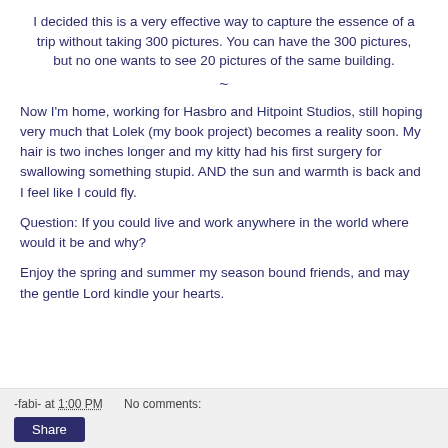I decided this is a very effective way to capture the essence of a trip without taking 300 pictures. You can have the 300 pictures, but no one wants to see 20 pictures of the same building.
~
Now I'm home, working for Hasbro and Hitpoint Studios, still hoping very much that Lolek (my book project) becomes a reality soon. My hair is two inches longer and my kitty had his first surgery for swallowing something stupid. AND the sun and warmth is back and I feel like I could fly.
Question: If you could live and work anywhere in the world where would it be and why?
Enjoy the spring and summer my season bound friends, and may the gentle Lord kindle your hearts.
-fabi- at 1:00 PM   No comments:   Share